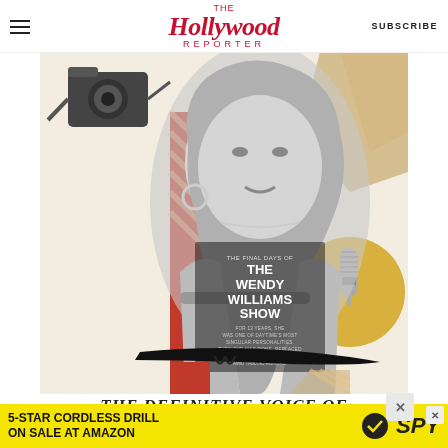The Hollywood Reporter — SUBSCRIBE
[Figure (illustration): Magazine cover illustration of Wendy Williams in black-and-white with collage elements (camera, microphone, red and gold geometric shapes). Cover text reads: THE FINAL DAYS OF THE WENDY WILLIAMS SHOW. FOR 13 YEARS, SHE WAS ONE OF DAYTIME'S MOST SINGULAR PERSONALITIES. THEN SHE WAS GONE, REPLACED BY A STRING OF GUEST HOSTS AMID TABLOID RUMORS. NOW INSIDERS REVEAL WHAT REALLY WENT DOWN WITH TV'S QUEEN OF THE PURPLE THRONE.]
THE DEFINITIVE VOICE OF
[Figure (advertisement): Yellow banner ad: 5-STAR CORDLESS DRILL ON SALE AT AMAZON, with SPY logo and close button X]